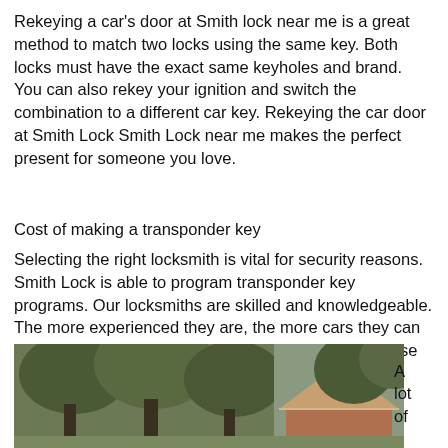Rekeying a car's door at Smith lock near me is a great method to match two locks using the same key. Both locks must have the exact same keyholes and brand. You can also rekey your ignition and switch the combination to a different car key. Rekeying the car door at Smith Lock Smith Lock near me makes the perfect present for someone you love.
Cost of making a transponder key
Selecting the right locksmith is vital for security reasons. Smith Lock is able to program transponder key programs. Our locksmiths are skilled and knowledgeable. The more experienced they are, the more cars they can program for you. Here are some suggestions to choose the best locksmith:
[Figure (photo): A photo of a house with a triangular roof and trees in the background.]
A lot of